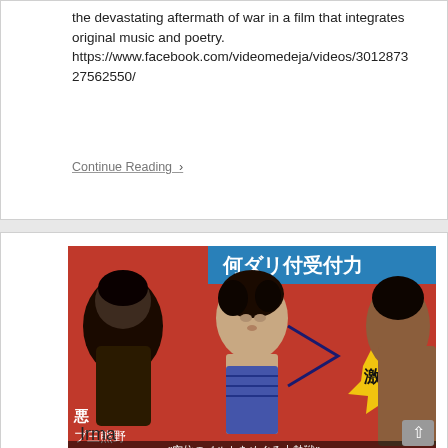the devastating aftermath of war in a film that integrates original music and poetry. https://www.facebook.com/videomedeja/videos/301287327562550/
Continue Reading >
[Figure (photo): Japanese movie poster or magazine cover with three people on a red background. Japanese text visible including characters 激突！ (Crash!), 悪, 熊野, and 空位のベルトをめぐる大熱戦. Blue banner at top with Japanese characters. Yellow starburst shape with bold text.]
Irma